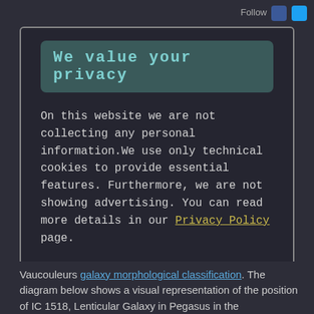Follow
We value your privacy
On this website we are not collecting any personal information.We use only technical cookies to provide essential features. Furthermore, we are not showing advertising. You can read more details in our Privacy Policy page.
If you proceed we'll assume you agree to receive our cookies. Thank you.
Proceed to TheSkyLive.com
Vaucouleurs galaxy morphological classification. The diagram below shows a visual representation of the position of IC 1518, Lenticular Galaxy in Pegasus in the